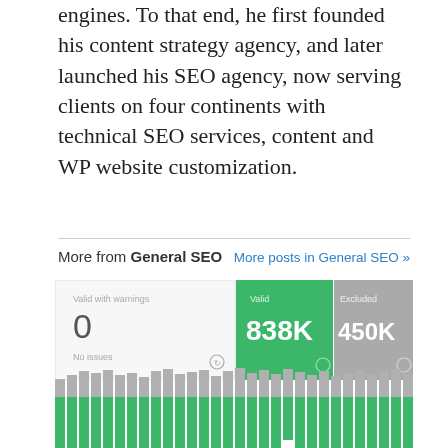engines. To that end, he first founded his content strategy agency, and later launched his SEO agency, now serving clients on four continents with technical SEO services, content and WP website customization.
More from General SEO
More posts in General SEO »
[Figure (screenshot): SEO stats dashboard showing: Valid with warnings: 0, No issues. Valid: 838K. Excluded: 450K.]
[Figure (stacked-bar-chart): Stacked bar chart showing green (valid) and grey (excluded) segments across many time periods, with green bars dominant at bottom and grey on top.]